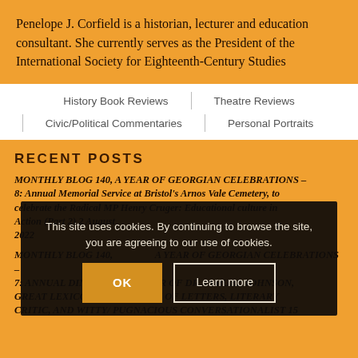Penelope J. Corfield is a historian, lecturer and education consultant. She currently serves as the President of the International Society for Eighteenth-Century Studies
History Book Reviews
Theatre Reviews
Civic/Political Commentaries
Personal Portraits
RECENT POSTS
MONTHLY BLOG 140, A YEAR OF GEORGIAN CELEBRATIONS – 8: Annual Memorial Service at Bristol's Arnos Vale Cemetery, to celebrate the Radical MP Henry Cruger Educational culture in Action (Part 2) 2 August 2022
This site uses cookies. By continuing to browse the site, you are agreeing to our use of cookies.
MONTHLY BLOG 140, A YEAR OF GEORGIAN CELEBRATIONS – 7: ANNUAL DINNER IN HONOUR OF DR SAMUEL JOHNSON, GREAT LEXICOGRAPHER, MAN OF LETTERS, LITERARY CRITIC, AND WITTY/ PUGNACIOUS CONVERSATIONALIST 15